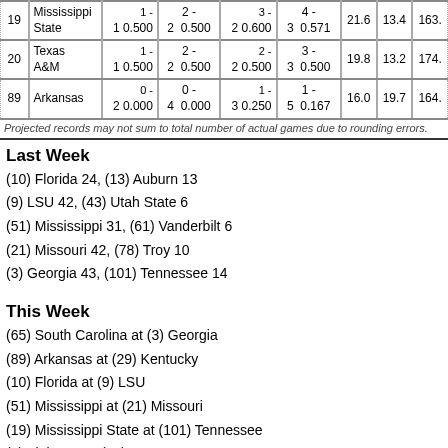| Rank | Team | Home W-L Pct | Neutral W-L Pct | Away W-L Pct | Overall W-L Pct | PPG | Opp PPG | SOS |
| --- | --- | --- | --- | --- | --- | --- | --- | --- |
| 19 | Mississippi State | 1-1 0.500 | 2-2 0.500 | 3-2 0.600 | 4-3 0.571 | 21.6 | 13.4 | 163. |
| 20 | Texas A&M | 1-1 0.500 | 2-2 0.500 | 2-2 0.500 | 3-3 0.500 | 19.8 | 13.2 | 174. |
| 89 | Arkansas | 0-2 0.000 | 0-4 0.000 | 1-3 0.250 | 1-5 0.167 | 16.0 | 19.7 | 164. |
Projected records may not sum to total number of actual games due to rounding errors.
Last Week
(10) Florida 24, (13) Auburn 13
(9) LSU 42, (43) Utah State 6
(51) Mississippi 31, (61) Vanderbilt 6
(21) Missouri 42, (78) Troy 10
(3) Georgia 43, (101) Tennessee 14
This Week
(65) South Carolina at (3) Georgia
(89) Arkansas at (29) Kentucky
(10) Florida at (9) LSU
(51) Mississippi at (21) Missouri
(19) Mississippi State at (101) Tennessee
(4) Alabama at (20) Texas A&M
(117) UNLV at (61) Vanderbilt